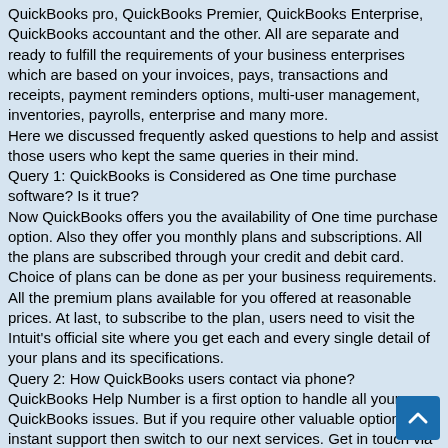QuickBooks pro, QuickBooks Premier, QuickBooks Enterprise, QuickBooks accountant and the other. All are separate and ready to fulfill the requirements of your business enterprises which are based on your invoices, pays, transactions and receipts, payment reminders options, multi-user management, inventories, payrolls, enterprise and many more.
Here we discussed frequently asked questions to help and assist those users who kept the same queries in their mind.
Query 1: QuickBooks is Considered as One time purchase software? Is it true?
Now QuickBooks offers you the availability of One time purchase option. Also they offer you monthly plans and subscriptions. All the plans are subscribed through your credit and debit card. Choice of plans can be done as per your business requirements. All the premium plans available for you offered at reasonable prices. At last, to subscribe to the plan, users need to visit the Intuit's official site where you get each and every single detail of your plans and its specifications.
Query 2: How QuickBooks users contact via phone?
QuickBooks Help Number is a first option to handle all your QuickBooks issues. But if you require other valuable options for instant support then switch to our next services. Get in touch via email or live chat facility. Sometimes users are willing to interact with third party experts for their issues.
Query 3: Why users face difficulties while log in QuickBooks Online?
It generally occurs when users are unable to login into QuickBooks Online. At that point, Users get in touch with our experts. While running the QuickBooks Online, users start facing various typical login issues which are in below added sections in our below...